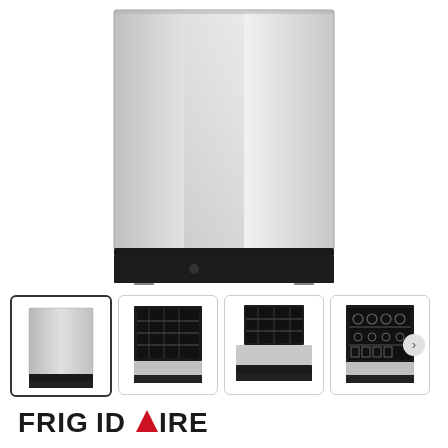[Figure (photo): Front view of a Frigidaire stainless steel built-in dishwasher, closed door, showing the smooth stainless steel panel and black base kickplate]
[Figure (photo): Thumbnail 1 (selected): Front view of Frigidaire dishwasher, closed stainless steel door]
[Figure (photo): Thumbnail 2: Interior view of Frigidaire dishwasher with door open and racks visible, front-left angle]
[Figure (photo): Thumbnail 3: Interior view of Frigidaire dishwasher with door open slightly, front view]
[Figure (photo): Thumbnail 4: Interior view of Frigidaire dishwasher loaded with dishes, door open]
[Figure (logo): Frigidaire brand logo in bold black capital letters with a red triangle accent replacing the letter A in FRIGIDAIRE]